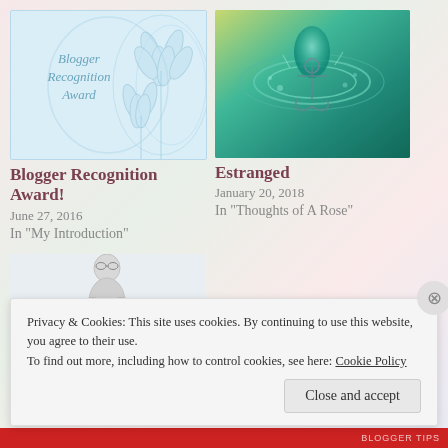[Figure (illustration): Blogger Recognition Award image with lily flowers on light blue background, text 'Blogger Recognition Award']
Blogger Recognition Award!
June 27, 2016
In "My Introduction"
[Figure (photo): Estranged - photo of anchor in water drop splash on teal/green background]
Estranged
January 20, 2018
In "Thoughts of A Rose"
[Figure (illustration): 3D figure person holding stack of books on light grey background]
Privacy & Cookies: This site uses cookies. By continuing to use this website, you agree to their use.
To find out more, including how to control cookies, see here: Cookie Policy
Close and accept